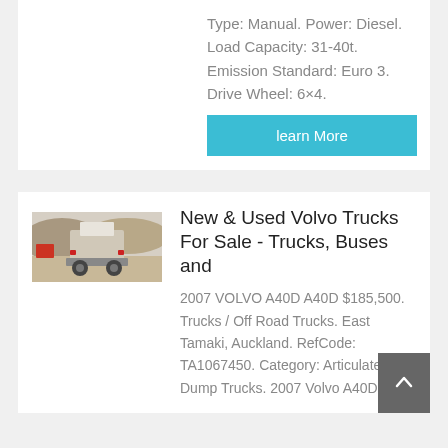Type: Manual. Power: Diesel. Load Capacity: 31-40t. Emission Standard: Euro 3. Drive Wheel: 6×4.
learn More
[Figure (photo): Rear view of a large truck cab/tractor unit in a dirt/gravel area with hills in the background]
New & Used Volvo Trucks For Sale - Trucks, Buses and
2007 VOLVO A40D A40D $185,500. Trucks / Off Road Trucks. East Tamaki, Auckland. RefCode: TA1067450. Category: Articulated Dump Trucks. 2007 Volvo A40D